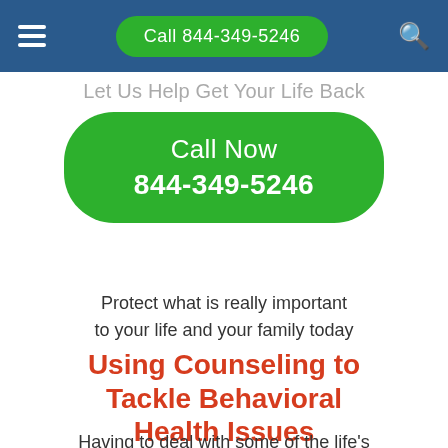Call 844-349-5246
Let Us Help Get Your Life Back
[Figure (other): Large green rounded button with text 'Call Now 844-349-5246']
Protect what is really important to your life and your family today
Using Counseling to Tackle Behavioral Health Issues
Having to deal with some of the life's